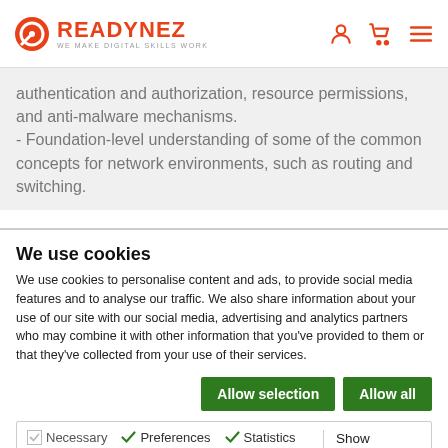READYNEZ — WE MAKE DIGITAL SKILLS WORK
authentication and authorization, resource permissions, and anti-malware mechanisms.
- Foundation-level understanding of some of the common concepts for network environments, such as routing and switching.
We use cookies
We use cookies to personalise content and ads, to provide social media features and to analyse our traffic. We also share information about your use of our site with our social media, advertising and analytics partners who may combine it with other information that you've provided to them or that they've collected from your use of their services.
Allow selection | Allow all
Necessary | Preferences | Statistics | Marketing | Show details